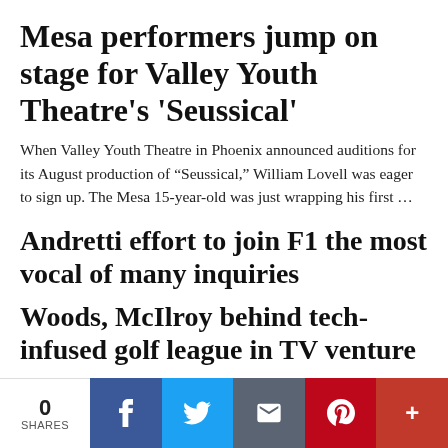Mesa performers jump on stage for Valley Youth Theatre's ‘Seussical’
When Valley Youth Theatre in Phoenix announced auditions for its August production of “Seussical,” William Lovell was eager to sign up. The Mesa 15-year-old was just wrapping his first …
Andretti effort to join F1 the most vocal of many inquiries
Woods, McIlroy behind tech-infused golf league in TV venture
October lineup set for downtown Glendale music series